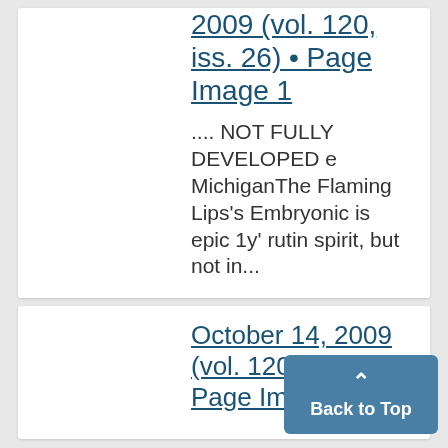2009 (vol. 120, iss. 26) • Page Image 1
.... NOT FULLY DEVELOPED e MichiganThe Flaming Lips's Embryonic is epic 1y' rutin spirit, but not in...
October 14, 2009 (vol. 120, iss. • Page Im 1